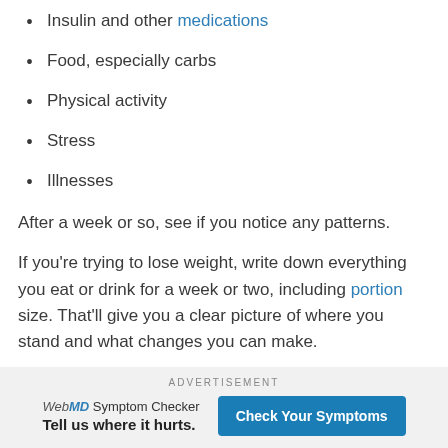Insulin and other medications
Food, especially carbs
Physical activity
Stress
Illnesses
After a week or so, see if you notice any patterns.
If you're trying to lose weight, write down everything you eat or drink for a week or two, including portion size. That'll give you a clear picture of where you stand and what changes you can make.
ADVERTISEMENT
WebMD Symptom Checker Tell us where it hurts. Check Your Symptoms